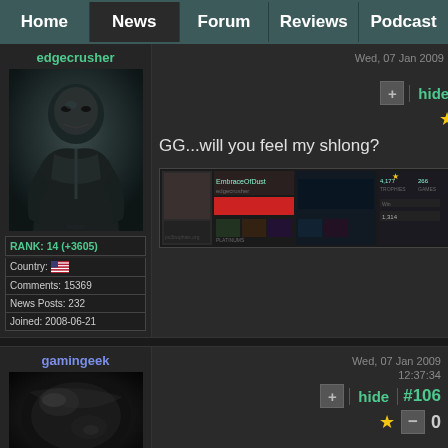Home | News | Forum | Reviews | Podcast
edgecrusher
[Figure (photo): Avatar image of edgecrusher: dark stylized bald figure in armor]
RANK: 14 (+3605)
Country: [US flag]
Comments: 15369
News Posts: 232
Joined: 2008-06-21
Wed, 07 Jan 2009 02:20UTC 12:14:25
+ | hide | #105 | ★ — 0
GG...will you feel my shlong?
[Figure (screenshot): Embedded gaming profile banner/widget showing user stats]
gamingeek
[Figure (photo): Avatar image of gamingeek: close-up black shiny object]
Wed, 07 Jan 2009 12:37:34
+ | hide | #106 | ★ — 0